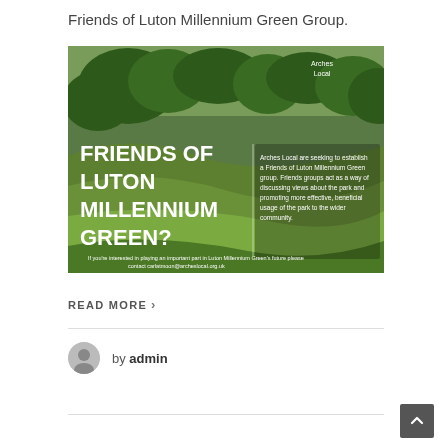Friends of Luton Millennium Green Group.
[Figure (photo): Promotional image for the Friends of Luton Millennium Green group, showing a green park landscape with bold text 'FRIENDS OF LUTON MILLENNIUM GREEN?' on the left, and descriptive text on the right explaining that Arches Local are seeking to establish a Friends group. Bottom text reads: 'If you're interested in playing an important part in Luton Millennium Green's future please contact carlatmoon@archeslocal.org.uk'. Arches Local logo in top right corner.]
READ MORE >
by admin